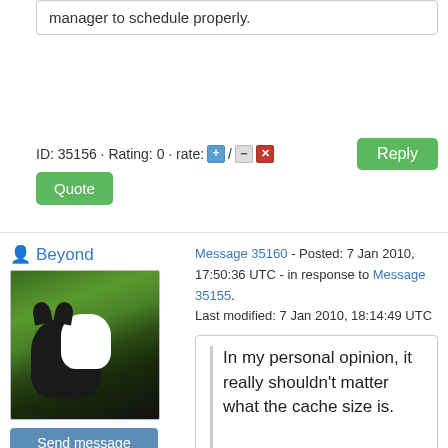manager to schedule properly.
ID: 35156 · Rating: 0 · rate: [+] / [-][x]
Quote
Beyond
[Figure (photo): Avatar photo of a black and white cat in yellow flowers]
Send message
Joined: 15 Jul 08
Posts: 383
Credit: 602,435,449
RAC: 492
[Figure (illustration): Two badges: a snowflake badge and a diamond/hexagon badge with XIV]
Message 35160 - Posted: 7 Jan 2010, 17:50:36 UTC - in response to Message 35155. Last modified: 7 Jan 2010, 18:14:49 UTC
In my personal opinion, it really shouldn't matter what the cache size is.

1. The code should be smart enough to distinguish between CPU and GPU WU's.